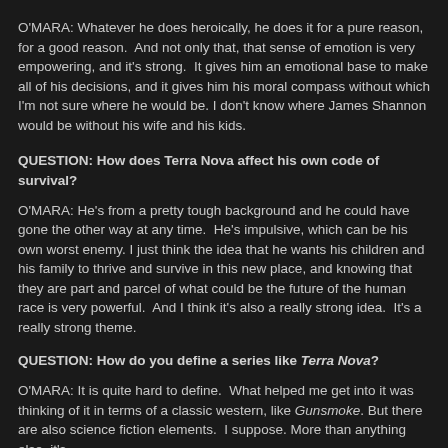O'MARA: Whatever he does heroically, he does it for a pure reason, for a good reason.  And not only that, that sense of emotion is very empowering, and it's strong.  It gives him an emotional base to make all of his decisions, and it gives him his moral compass without which I'm not sure where he would be. I don't know where James Shannon would be without his wife and his kids.
QUESTION: How does Terra Nova affect his own code of survival?
O'MARA: He's from a pretty tough background and he could have gone the other way at any time.  He's impulsive, which can be his own worst enemy. I just think the idea that he wants his children and his family to thrive and survive in this new place, and knowing that they are part and parcel of what could be the future of the human race is very powerful.  And I think it's also a really strong idea.  It's a really strong theme.
QUESTION: How do you define a series like Terra Nova?
O'MARA: It is quite hard to define.  What helped me get into it was thinking of it in terms of a classic western, like Gunsmoke. But there are also science fiction elements.  I suppose. More than anything else, it's